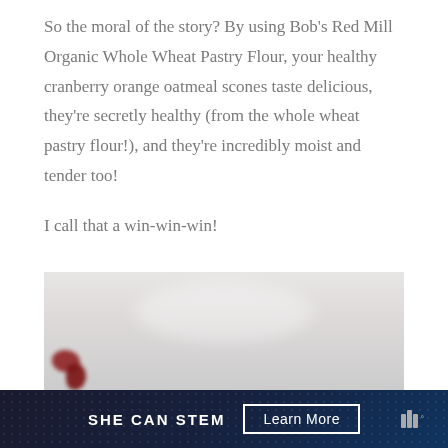So the moral of the story? By using Bob's Red Mill Organic Whole Wheat Pastry Flour, your healthy cranberry orange oatmeal scones taste delicious, they're secretly healthy (from the whole wheat pastry flour!), and they're incredibly moist and tender too!
I call that a win-win-win!
[Figure (photo): Partial photo of cranberry orange oatmeal scones, showing a blurred white/light background with dark red cranberries visible in the lower left corner.]
SHE CAN STEM   Learn More